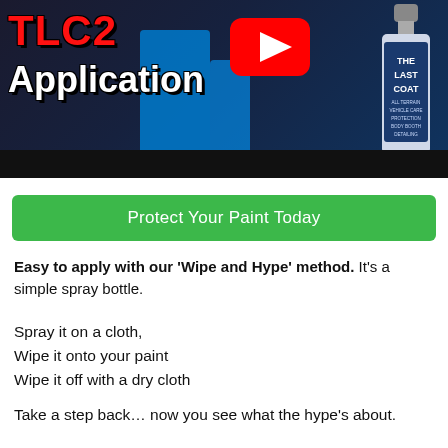[Figure (screenshot): YouTube video thumbnail for TLC2 Application showing red text 'TLC2 Application', YouTube play button, a blue object, and a bottle of 'The Last Coat' product against a dark background]
Protect Your Paint Today
Easy to apply with our 'Wipe and Hype' method. It's a simple spray bottle.
Spray it on a cloth,
Wipe it onto your paint
Wipe it off with a dry cloth
Take a step back… now you see what the hype's about.